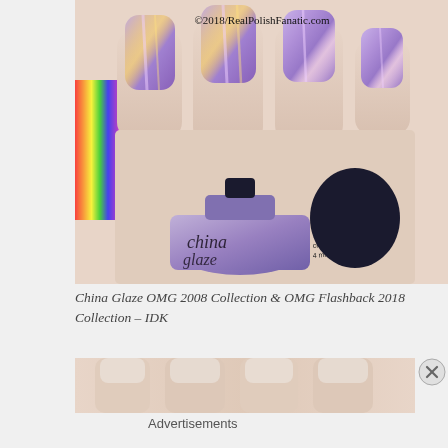[Figure (photo): Close-up photograph of four fingers with purple holographic glitter nail polish applied, holding a China Glaze nail polish bottle. Watermark reads ©2018/RealPolishFanatic.com. Rainbow holographic effect visible on nails and a rainbow shimmer strip on the left side.]
China Glaze OMG 2008 Collection & OMG Flashback 2018 Collection – IDK
[Figure (photo): Partial advertisement image showing close-up of fingers/nails, with an X close button on the right.]
Advertisements